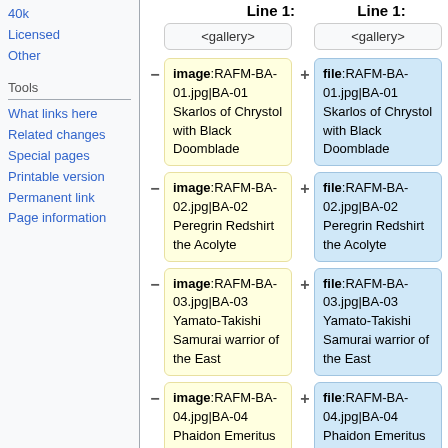40k
Licensed
Other
Tools
What links here
Related changes
Special pages
Printable version
Permanent link
Page information
Line 1:
Line 1:
<gallery>
<gallery>
image:RAFM-BA-01.jpg|BA-01 Skarlos of Chrystol with Black Doomblade
file:RAFM-BA-01.jpg|BA-01 Skarlos of Chrystol with Black Doomblade
image:RAFM-BA-02.jpg|BA-02 Peregrin Redshirt the Acolyte
file:RAFM-BA-02.jpg|BA-02 Peregrin Redshirt the Acolyte
image:RAFM-BA-03.jpg|BA-03 Yamato-Takishi Samurai warrior of the East
file:RAFM-BA-03.jpg|BA-03 Yamato-Takishi Samurai warrior of the East
image:RAFM-BA-04.jpg|BA-04 Phaidon Emeritus with Lumitic Crucifix
file:RAFM-BA-04.jpg|BA-04 Phaidon Emeritus with Lumitic Crucifix